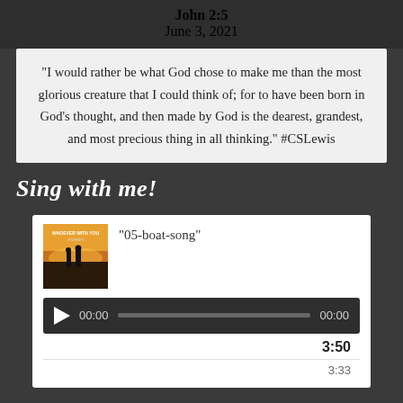John 2:5
June 3, 2021
"I would rather be what God chose to make me than the most glorious creature that I could think of; for to have been born in God's thought, and then made by God is the dearest, grandest, and most precious thing in all thinking." #CSLewis
Sing with me!
[Figure (screenshot): Audio player with album art for '05-boat-song', showing progress bar at 00:00 with total time 00:00 displayed, and duration listing of 3:50]
3:50